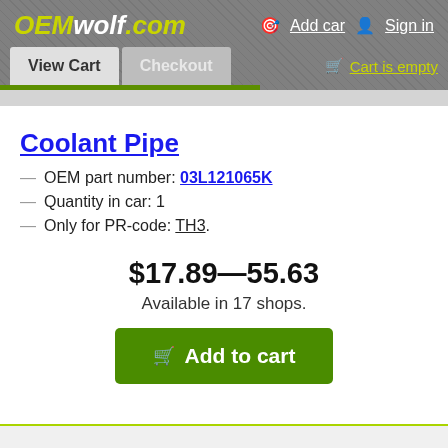OEMwolf.com — Add car | Sign in | View Cart | Checkout | Cart is empty
Coolant Pipe
OEM part number: 03L121065K
Quantity in car: 1
Only for PR-code: TH3.
$17.89—55.63
Available in 17 shops.
Add to cart